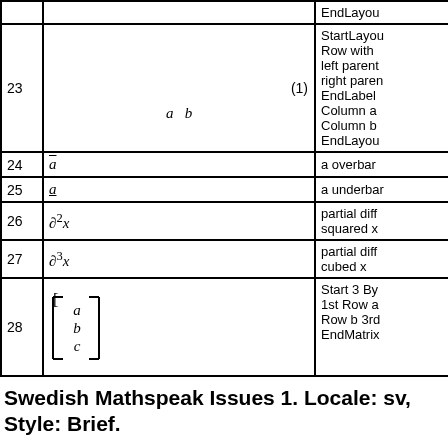| # | Math | Description |
| --- | --- | --- |
| 23 | a  b  (1) | StartLayout Row with left parenthesis right parenthesis EndLabel Column a Column b EndLayout |
| 24 | ā | a overbar |
| 25 | a̲ | a underbar |
| 26 | ∂²x | partial diff squared x |
| 27 | ∂³x | partial diff cubed x |
| 28 | [a b c] | Start 3 By 1st Row a Row b 3rd EndMatrix |
Swedish Mathspeak Issues 1. Locale: sv, Style: Brief.